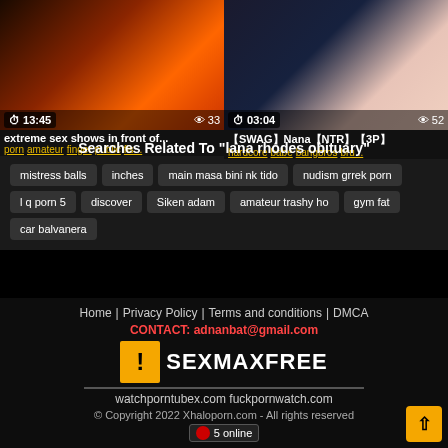[Figure (screenshot): Video thumbnail left: dark reddish scene, duration 13:45, 33 views]
[Figure (screenshot): Video thumbnail right: duration 03:04, 52 views]
extreme sex shows in front of...
porn amateur finger public fis...
【SWAG】Nana【NTR】【3P】
hardcore babe bangbros bru...
Searches Related To "lana rhodes obituary"
mistress balls
inches
main masa bini nk tido
nudism grrek porn
l q porn 5
discover
Siken adam
amateur trashy ho
gym fat
car balvanera
Home  Privacy Policy  Terms and conditions  DMCA  CONTACT: adnanbat@gmail.com  watchporntubex.com fuckpornwatch.com  © Copyright 2022 Xhaloporn.com - All rights reserved  5 online